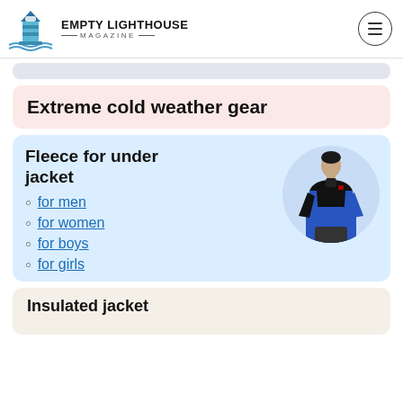EMPTY LIGHTHOUSE MAGAZINE
Extreme cold weather gear
Fleece for under jacket
for men
for women
for boys
for girls
[Figure (photo): Man wearing blue and black fleece jacket, shown in circular crop]
Insulated jacket (partial, cut off)